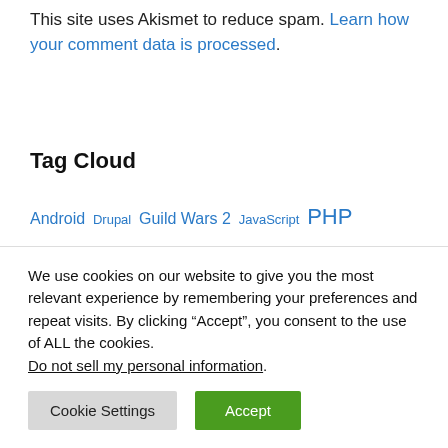This site uses Akismet to reduce spam. Learn how your comment data is processed.
Tag Cloud
Android  Drupal  Guild Wars 2  JavaScript  PHP  Radio  Samsung  SourceMod  Website  Wordpress
We use cookies on our website to give you the most relevant experience by remembering your preferences and repeat visits. By clicking “Accept”, you consent to the use of ALL the cookies. Do not sell my personal information.
Cookie Settings  Accept